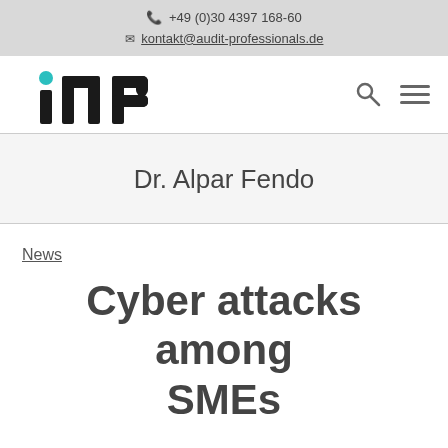+49 (0)30 4397 168-60
kontakt@audit-professionals.de
[Figure (logo): iNP logo — stylized letters i, n, P in black with a teal/cyan dot on the i]
Dr. Alpar Fendo
News
Cyber attacks among SMEs